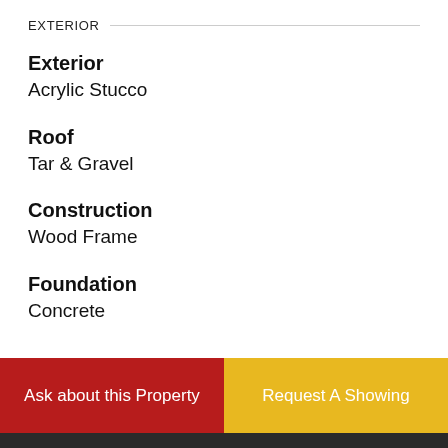EXTERIOR
Exterior
Acrylic Stucco
Roof
Tar & Gravel
Construction
Wood Frame
Foundation
Concrete
Ask about this Property
Request A Showing
★ ➤ 🖨